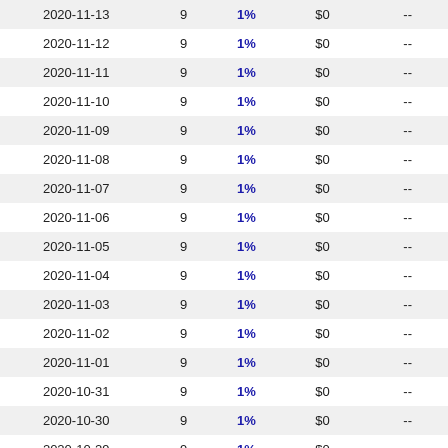| Date |  | % | $ |  |
| --- | --- | --- | --- | --- |
| 2020-11-13 | 9 | 1% | $0 | -- |
| 2020-11-12 | 9 | 1% | $0 | -- |
| 2020-11-11 | 9 | 1% | $0 | -- |
| 2020-11-10 | 9 | 1% | $0 | -- |
| 2020-11-09 | 9 | 1% | $0 | -- |
| 2020-11-08 | 9 | 1% | $0 | -- |
| 2020-11-07 | 9 | 1% | $0 | -- |
| 2020-11-06 | 9 | 1% | $0 | -- |
| 2020-11-05 | 9 | 1% | $0 | -- |
| 2020-11-04 | 9 | 1% | $0 | -- |
| 2020-11-03 | 9 | 1% | $0 | -- |
| 2020-11-02 | 9 | 1% | $0 | -- |
| 2020-11-01 | 9 | 1% | $0 | -- |
| 2020-10-31 | 9 | 1% | $0 | -- |
| 2020-10-30 | 9 | 1% | $0 | -- |
| 2020-10-29 | 9 | 1% | $0 | -- |